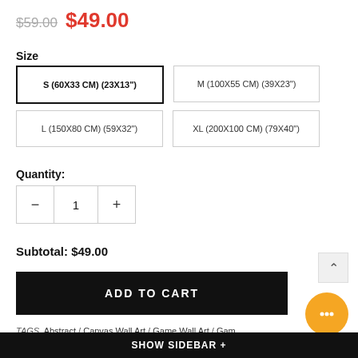$59.00  $49.00
Size
S (60X33 CM) (23X13")
M (100X55 CM) (39X23")
L (150X80 CM) (59X32")
XL (200X100 CM) (79X40")
Quantity:
1
Subtotal: $49.00
ADD TO CART
TAGS Abstract / Canvas Wall Art / Game Wall Art / Gaming Decoration / Gaming Room / Skull Art / Skull Canvas Wall Art / woo_import_1
SHOW SIDEBAR +